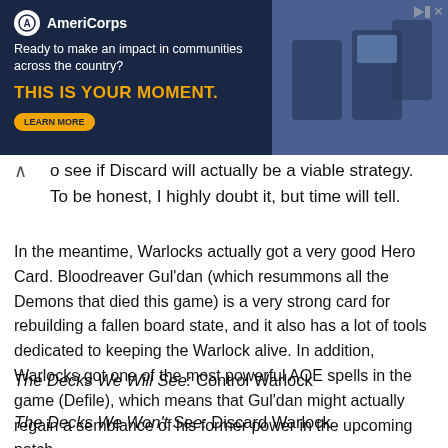[Figure (screenshot): AmeriCorps advertisement banner with dark navy background. Logo with circle icon and 'AmeriCorps' text. Tagline: 'Ready to make an impact in communities across the country?' Headline in gold: 'THIS IS YOUR MOMENT.' with a 'LEARN MORE' button. Photo of people on right side. Ad close button top right.]
o see if Discard will actually be a viable strategy. To be honest, I highly doubt it, but time will tell.
In the meantime, Warlocks actually got a very good Hero Card. Bloodreaver Gul’dan (which resummons all the Demons that died this game) is a very strong card for rebuilding a fallen board state, and it also has a lot of tools dedicated to keeping the Warlock alive. In addition, Warlocks got one of the most powerful AOE spells in the game (Defile), which means that Gul’dan might actually regain a semblance of his former power in the upcoming patch.
The Decks We Will See: Control Warlock
The Decks We Won’t See: Discard Warlock